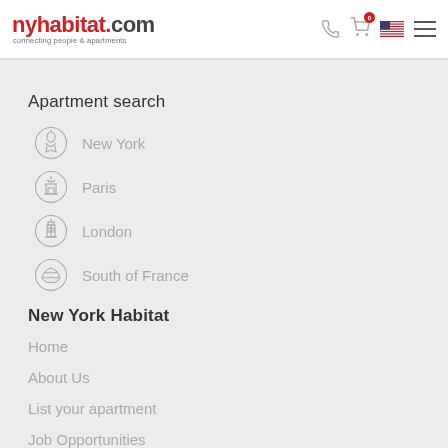nyhabitat.com connecting people & apartments
Apartment search
New York
Paris
London
South of France
New York Habitat
Home
About Us
List your apartment
Job Opportunities
Blog